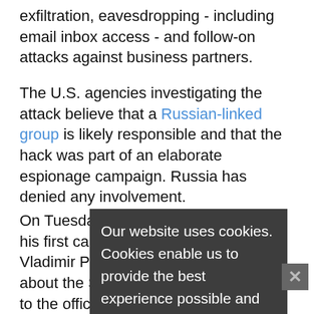exfiltration, eavesdropping - including email inbox access - and follow-on attacks against business partners.
The U.S. agencies investigating the attack believe that a Russian-linked group is likely responsible and that the hack was part of an elaborate espionage campaign. Russia has denied any involvement.
On Tuesday, President Joe Biden held his first call with Russian President Vladimir Putin and raised concerns about the SolarWinds hack, according to the official readout from the White House.
The attack, which appears to have started in March 2020, went undetected until FireEye discovered that its penetration testing tools had been stolen. Two months into the investigation, security firms and researchers have found that the hackers used a wide range of malicious
Our website uses cookies. Cookies enable us to provide the best experience possible and help us understand how visitors use our website. By browsing govinfosecurity.com, you agree to our use of cookies.